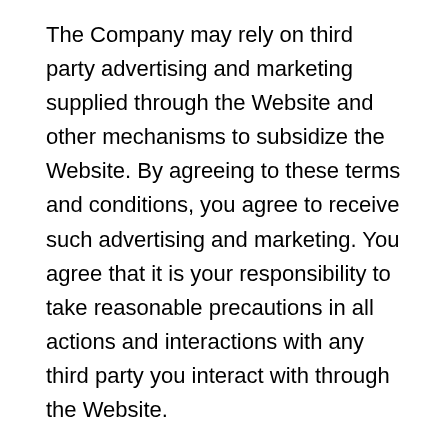The Company may rely on third party advertising and marketing supplied through the Website and other mechanisms to subsidize the Website. By agreeing to these terms and conditions, you agree to receive such advertising and marketing. You agree that it is your responsibility to take reasonable precautions in all actions and interactions with any third party you interact with through the Website.
Indemnification
By entering into this Agreement and using the Website, you agree that you shall defend, indemnify and hold the Company, its licensors, and each of their parent organizations, subsidiaries, affiliates, officers, directors, Users, employees, attorneys and agents harmless from and against any and all claims, costs, damages, losses,